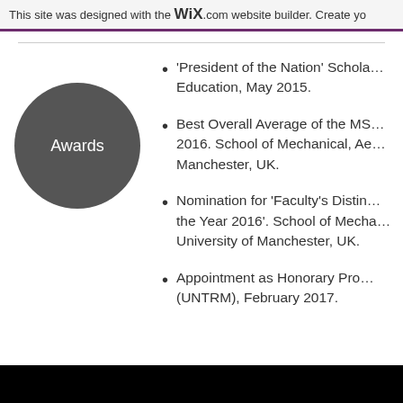This site was designed with the WiX.com website builder. Create yo
[Figure (illustration): Dark gray circle badge with white text 'Awards']
'President of the Nation' Scholarship, Ministry of Education, May 2015.
Best Overall Average of the MSc, Academic Year 2015-2016. School of Mechanical, Aerospace and Civil Engineering, University of Manchester, UK.
Nomination for 'Faculty's Distinguished Postgraduate Student of the Year 2016'. School of Mechanical, Aerospace and Civil Engineering, University of Manchester, UK.
Appointment as Honorary Professor of UNTRM, (UNTRM), February 2017.